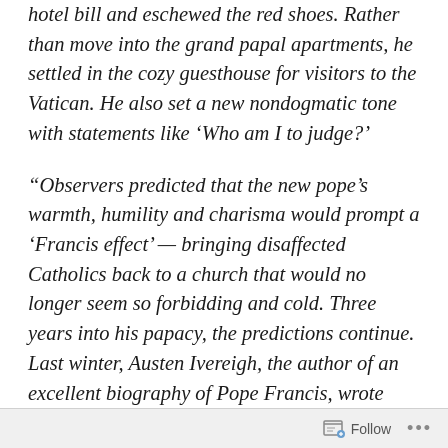hotel bill and eschewed the red shoes. Rather than move into the grand papal apartments, he settled in the cozy guesthouse for visitors to the Vatican. He also set a new nondogmatic tone with statements like ‘Who am I to judge?’
“Observers predicted that the new pope’s warmth, humility and charisma would prompt a ‘Francis effect’ — bringing disaffected Catholics back to a church that would no longer seem so forbidding and cold. Three years into his papacy, the predictions continue. Last winter, Austen Ivereigh, the author of an excellent biography of Pope Francis, wrote that the pope’s softer stance on communion for the divorced and remarried ‘could trigger a return to parishes on a large scale.’ In its early days, Francis’ Jesuit
Follow ···